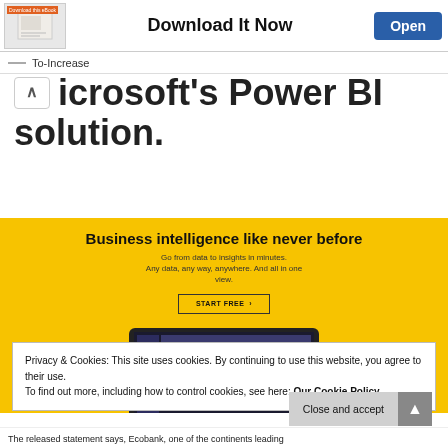[Figure (screenshot): Ad banner showing an eBook thumbnail, 'Download It Now' heading, and an 'Open' button]
— To-Increase
icrosoft's Power BI solution.
[Figure (screenshot): Yellow Power BI promotional banner with heading 'Business intelligence like never before', subtext 'Go from data to insights in minutes. Any data, any way, anywhere. And all in one view.', a 'START FREE' button, and a laptop mockup screenshot]
Privacy & Cookies: This site uses cookies. By continuing to use this website, you agree to their use.
To find out more, including how to control cookies, see here: Our Cookie Policy
The released statement says, Ecobank, one of the continents leading